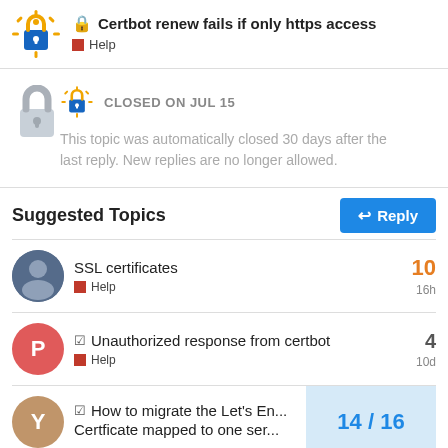Certbot renew fails if only https access — Help
CLOSED ON JUL 15
This topic was automatically closed 30 days after the last reply. New replies are no longer allowed.
Suggested Topics
SSL certificates
Help
10
16h
Unauthorized response from certbot
Help
4
10d
How to migrate the Let's En... Certficate mapped to one ser...
14 / 16